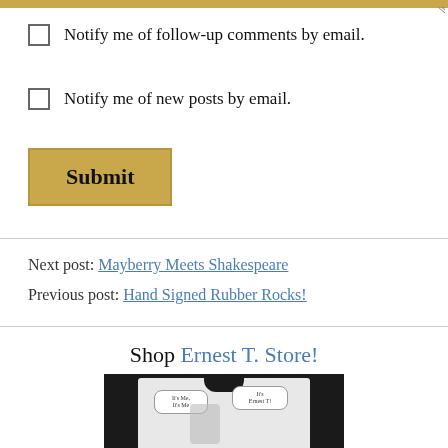Notify me of follow-up comments by email.
Notify me of new posts by email.
Submit
Next post: Mayberry Meets Shakespeare
Previous post: Hand Signed Rubber Rocks!
Shop Ernest T. Store!
[Figure (photo): Person wearing a white t-shirt with Ernest T. Bass graphic and speech bubbles saying 'It's Me, It's Me' and 'It's Ernest T!']